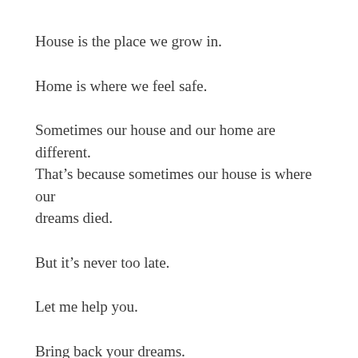House is the place we grow in.
Home is where we feel safe.
Sometimes our house and our home are different. That’s because sometimes our house is where our dreams died.
But it’s never too late.
Let me help you.
Bring back your dreams.